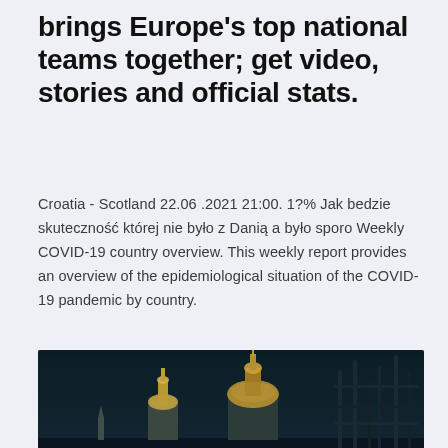brings Europe's top national teams together; get video, stories and official stats.
Croatia - Scotland 22.06 .2021 21:00. 1?% Jak bedzie skuteczność której nie było z Danią a było sporo Weekly COVID-19 country overview. This weekly report provides an overview of the epidemiological situation of the COVID-19 pandemic by country.
[Figure (photo): Dark nighttime cityscape showing illuminated domed buildings (resembling St Paul's Cathedral) and architectural structures against a dark teal/navy sky]